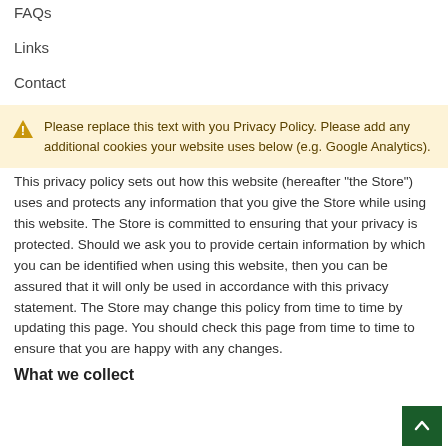FAQs
Links
Contact
Please replace this text with you Privacy Policy. Please add any additional cookies your website uses below (e.g. Google Analytics).
This privacy policy sets out how this website (hereafter "the Store") uses and protects any information that you give the Store while using this website. The Store is committed to ensuring that your privacy is protected. Should we ask you to provide certain information by which you can be identified when using this website, then you can be assured that it will only be used in accordance with this privacy statement. The Store may change this policy from time to time by updating this page. You should check this page from time to time to ensure that you are happy with any changes.
What we collect